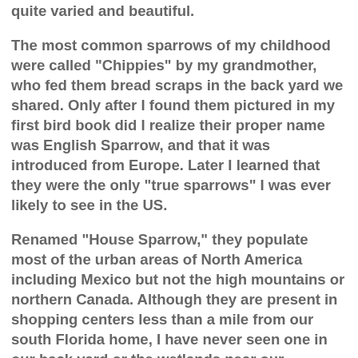quite varied and beautiful.
The most common sparrows of my childhood were called "Chippies" by my grandmother, who fed them bread scraps in the back yard we shared. Only after I found them pictured in my first bird book did I realize their proper name was English Sparrow, and that it was introduced from Europe. Later I learned that they were the only "true sparrows" I was ever likely to see in the US.
Renamed "House Sparrow," they populate most of the urban areas of North America including Mexico but not the high mountains or northern Canada. Although they are present in shopping centers less than a mile from our south Florida home, I have never seen one in our back yard or the wetlands near our home.This male is enjoying a meal in our daughter's feeder in Batavia: